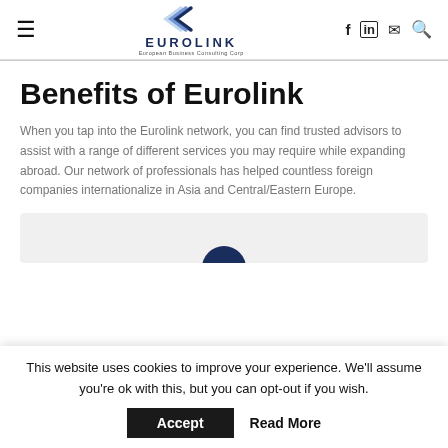Eurolink — European Business Consulting Corp
Benefits of Eurolink
When you tap into the Eurolink network, you can find trusted advisors to assist with a range of different services you may require while expanding abroad. Our network of professionals has helped countless foreign companies internationalize in Asia and Central/Eastern Europe.
[Figure (other): Partially visible card/section with a blue circular element, cut off at bottom]
This website uses cookies to improve your experience. We'll assume you're ok with this, but you can opt-out if you wish.